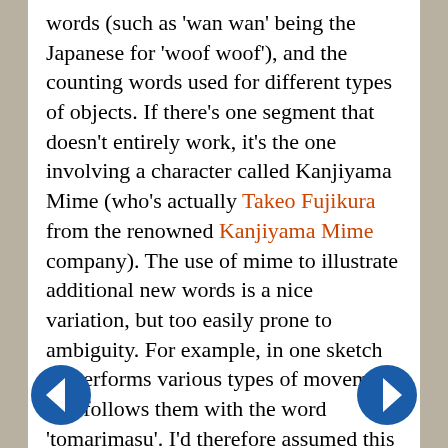words (such as 'wan wan' being the Japanese for 'woof woof'), and the counting words used for different types of objects. If there's one segment that doesn't entirely work, it's the one involving a character called Kanjiyama Mime (who's actually Takeo Fujikura from the renowned Kanjiyama Mime company). The use of mime to illustrate additional new words is a nice variation, but too easily prone to ambiguity. For example, in one sketch he performs various types of movement and follows them with the word 'tomarimasu'. I'd therefore assumed this was the verb 'to move', but The BBG assures me it's the verb 'to stop'. Imagine if you were in Japan and had to tell someone to get out of the way of a speeding car! That would make Kanjiyama Mime an